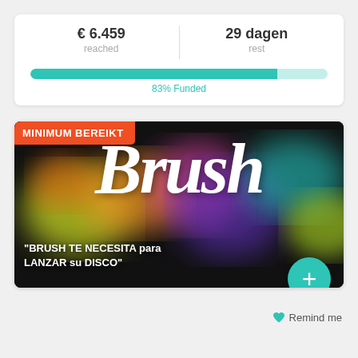€ 6.459
reached
29 dagen
rest
[Figure (infographic): Progress bar showing 83% funded, teal fill on light teal background]
83% Funded
[Figure (photo): Crowdfunding campaign image for 'Brush' project. Black background with colorful watercolor paint splashes. Large white cursive 'Brush' text. Orange badge top-left reads 'MINIMUM BEREIKT'. White text at bottom: '"BRUSH TE NECESITA para LANZAR su DISCO"'. Teal plus button bottom-right.]
Remind me